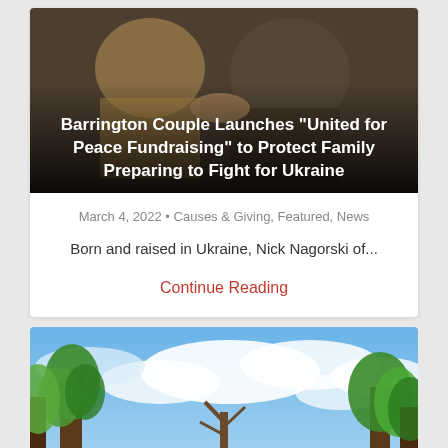[Figure (photo): Hero image showing two people shaking hands with dark overlay and white bold title text overlay at bottom]
Barrington Couple Launches "United for Peace Fundraising" to Protect Family Preparing to Fight for Ukraine
March 4, 2022 • Causes & Giving, Featured, News
Born and raised in Ukraine, Nick Nagorski of...
Continue Reading
[Figure (photo): Outdoor landscape photo showing tall trees with green foliage against a partly cloudy blue sky]